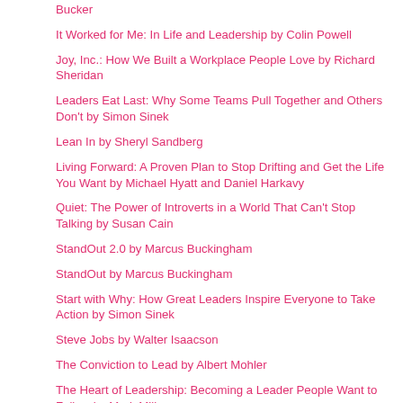Bucker
It Worked for Me: In Life and Leadership by Colin Powell
Joy, Inc.: How We Built a Workplace People Love by Richard Sheridan
Leaders Eat Last: Why Some Teams Pull Together and Others Don't by Simon Sinek
Lean In by Sheryl Sandberg
Living Forward: A Proven Plan to Stop Drifting and Get the Life You Want by Michael Hyatt and Daniel Harkavy
Quiet: The Power of Introverts in a World That Can't Stop Talking by Susan Cain
StandOut 2.0 by Marcus Buckingham
StandOut by Marcus Buckingham
Start with Why: How Great Leaders Inspire Everyone to Take Action by Simon Sinek
Steve Jobs by Walter Isaacson
The Conviction to Lead by Albert Mohler
The Heart of Leadership: Becoming a Leader People Want to Follow by Mark Miller
The Road to Character by David Brooks